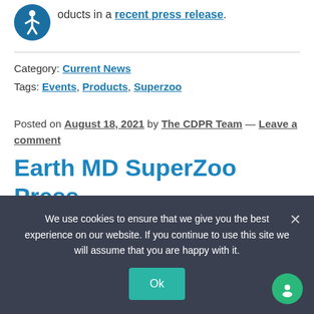oducts in a recent press release.
[Figure (illustration): Accessibility icon — circular blue badge with a white person/wheelchair figure]
Category: Current News
Tags: Events, Products, Superzoo
Posted on August 18, 2021 by The CDPR Team — Leave a comment
Earth MD SuperZoo Press
We use cookies to ensure that we give you the best experience on our website. If you continue to use this site we will assume that you are happy with it.